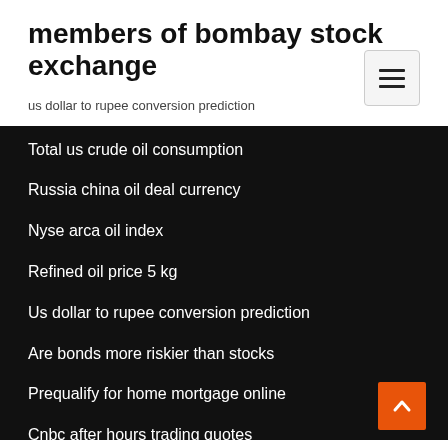members of bombay stock exchange
us dollar to rupee conversion prediction
Total us crude oil consumption
Russia china oil deal currency
Nyse arca oil index
Refined oil price 5 kg
Us dollar to rupee conversion prediction
Are bonds more riskier than stocks
Prequalify for home mortgage online
Cnbc after hours trading quotes